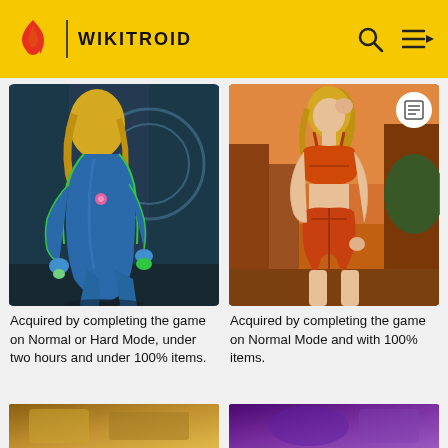WIKITROID
[Figure (illustration): Samus Aran in blue Zero Suit from behind, comic art style with sci-fi background]
[Figure (illustration): Samus Aran in orange athletic outfit, comic art style with warm-toned background]
Acquired by completing the game on Normal or Hard Mode, under two hours and under 100% items.
Acquired by completing the game on Normal Mode and with 100% items.
[Figure (illustration): Partially visible illustration at bottom left with golden/yellow tones]
[Figure (illustration): Partially visible illustration at bottom right with purple tones]